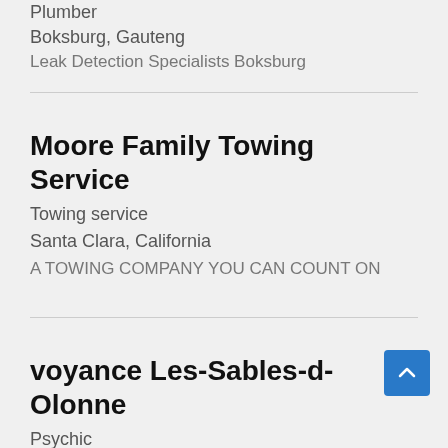Plumber
Boksburg, Gauteng
Leak Detection Specialists Boksburg
Moore Family Towing Service
Towing service
Santa Clara, California
A TOWING COMPANY YOU CAN COUNT ON
voyance Les-Sables-d-Olonne
Psychic
Les Sables-d'Olonne, Pays de la Loire